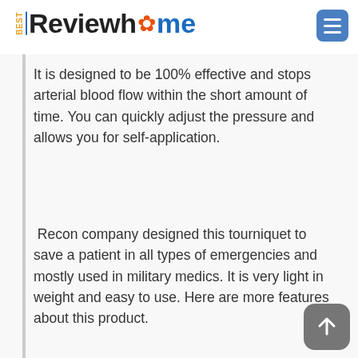BestReviewhome
It is designed to be 100% effective and stops arterial blood flow within the short amount of time. You can quickly adjust the pressure and allows you for self-application.
Recon company designed this tourniquet to save a patient in all types of emergencies and mostly used in military medics. It is very light in weight and easy to use. Here are more features about this product.